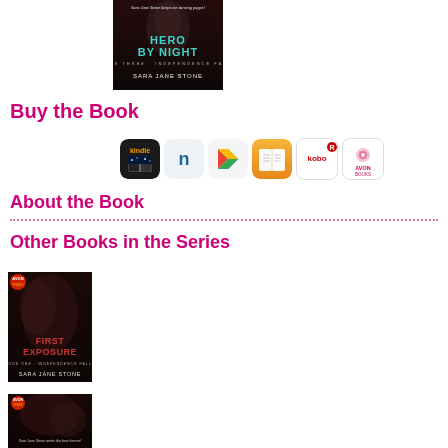[Figure (illustration): Book cover for 'Hero by Night' by Sara Jane Stone, Book Three Independence Falls]
Buy the Book
[Figure (illustration): Retailer icons: Kindle, Nook, Google Play, iBooks, Kobo, Avon Books]
About the Book
Other Books in the Series
[Figure (illustration): Book cover for 'First Exposure' by Sara Jane Stone, Book One Independence Falls]
[Figure (illustration): Second book cover by Sara Jane Stone, Independence Falls series]